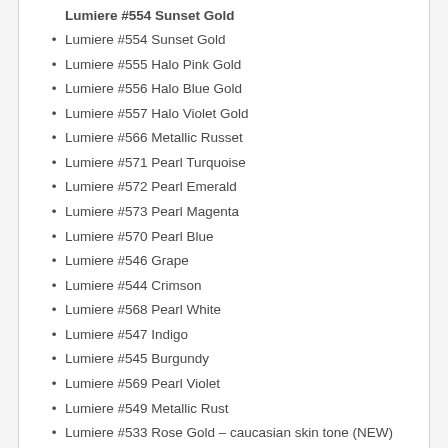Lumiere #554 Sunset Gold
Lumiere #555 Halo Pink Gold
Lumiere #556 Halo Blue Gold
Lumiere #557 Halo Violet Gold
Lumiere #566 Metallic Russet
Lumiere #571 Pearl Turquoise
Lumiere #572 Pearl Emerald
Lumiere #573 Pearl Magenta
Lumiere #570 Pearl Blue
Lumiere #546 Grape
Lumiere #544 Crimson
Lumiere #568 Pearl White
Lumiere #547 Indigo
Lumiere #545 Burgundy
Lumiere #569 Pearl Violet
Lumiere #549 Metallic Rust
Lumiere  #533 Rose Gold – caucasian skin tone (NEW)
Opulence colours – Redder Than RED
Opulence colour – Secret Weapon jade
Opulence colours – Alice Blue (NEW)